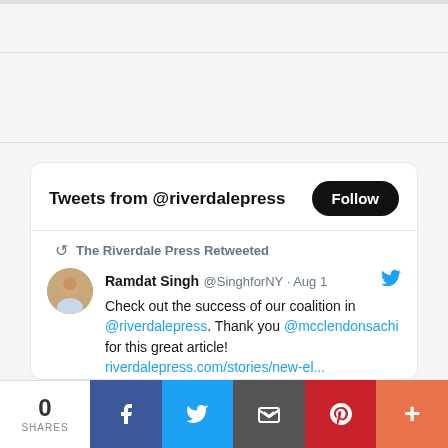[Figure (screenshot): Twitter widget showing 'Tweets from @riverdalepress' with a Follow button, a retweet by The Riverdale Press of Ramdat Singh @SinghforNY tweet from Aug 1 saying 'Check out the success of our coalition in @riverdalepress. Thank you @mcclendonsachi for this great article! riverdalepress.com/stories/new-el...' with a sensitive media notice box, and like/reply action icons showing 5 likes.]
0 SHARES | Facebook | Twitter | Email | Pinterest | More